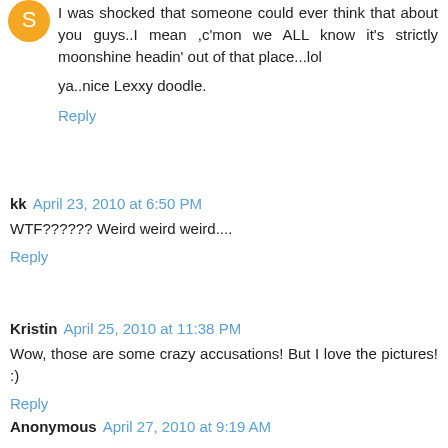[Figure (illustration): Orange circle avatar icon in top-left]
I was shocked that someone could ever think that about you guys..I mean ,c'mon we ALL know it's strictly moonshine headin' out of that place...lol

ya..nice Lexxy doodle.
Reply
kk April 23, 2010 at 6:50 PM
WTF?????? Weird weird weird....
Reply
Kristin April 25, 2010 at 11:38 PM
Wow, those are some crazy accusations! But I love the pictures! :)
Reply
Anonymous April 27, 2010 at 9:19 AM